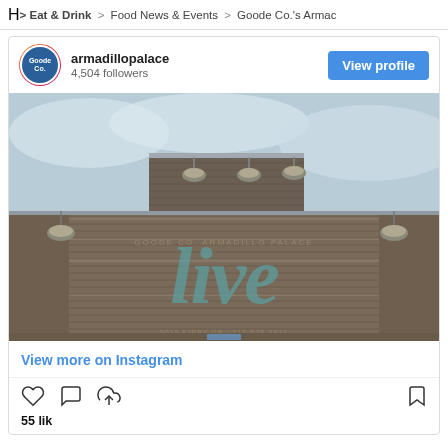H > Eat & Drink > Food News & Events > Goode Co.'s Armac
armadillopalace
4,504 followers
[Figure (photo): Exterior wall of Armadillo Palace with weathered horizontal wood planks, industrial pendant lights, and a large teal cursive 'live' painted on the wooden facade]
View more on Instagram
55 lik